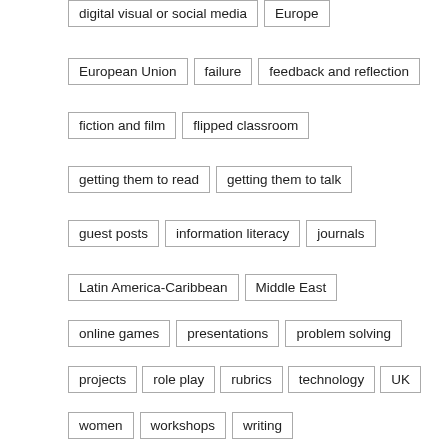digital visual or social media
Europe
European Union
failure
feedback and reflection
fiction and film
flipped classroom
getting them to read
getting them to talk
guest posts
information literacy
journals
Latin America-Caribbean
Middle East
online games
presentations
problem solving
projects
role play
rubrics
technology
UK
women
workshops
writing
META
Log in